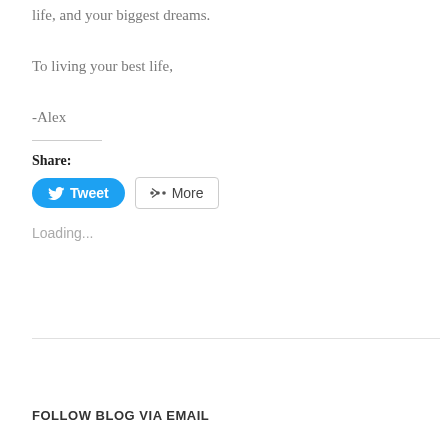life, and your biggest dreams.
To living your best life,
-Alex
Share:
[Figure (other): Tweet button (Twitter/X share button, blue rounded pill) and More button (grey bordered rectangle with share icon)]
Loading...
FOLLOW BLOG VIA EMAIL